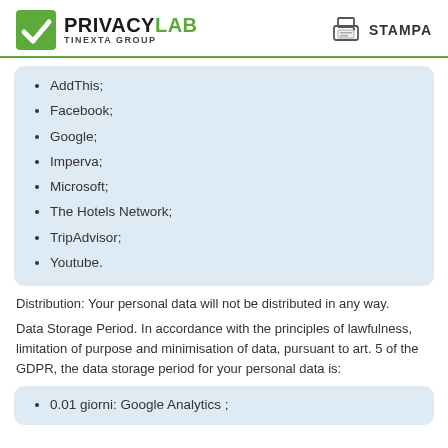PRIVACYLAB TINEXTA GROUP | STAMPA
AddThis;
Facebook;
Google;
Imperva;
Microsoft;
The Hotels Network;
TripAdvisor;
Youtube.
Distribution: Your personal data will not be distributed in any way.
Data Storage Period. In accordance with the principles of lawfulness, limitation of purpose and minimisation of data, pursuant to art. 5 of the GDPR, the data storage period for your personal data is:
0.01 giorni: Google Analytics ;